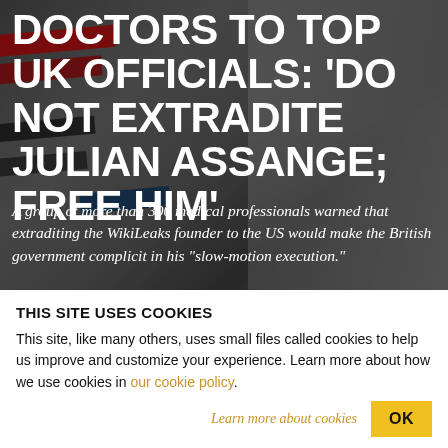[Figure (photo): Background photo of protest banners/placards outside a UK court building (likely Royal Courts of Justice). Red and black signs visible, with gothic stone architecture in the background.]
DOCTORS TO TOP UK OFFICIALS: 'DO NOT EXTRADITE JULIAN ASSANGE; FREE HIM'
A group of more than 300 medical professionals warned that extraditing the WikiLeaks founder to the US would make the British government complicit in his "slow-motion execution."
THIS SITE USES COOKIES
This site, like many others, uses small files called cookies to help us improve and customize your experience. Learn more about how we use cookies in our cookie policy.
Learn more about cookies